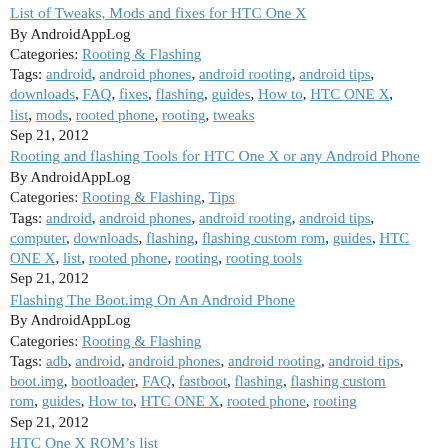List of Tweaks, Mods and fixes for HTC One X
By AndroidAppLog
Categories: Rooting & Flashing
Tags: android, android phones, android rooting, android tips, downloads, FAQ, fixes, flashing, guides, How to, HTC ONE X, list, mods, rooted phone, rooting, tweaks
Sep 21, 2012
Rooting and flashing Tools for HTC One X or any Android Phone
By AndroidAppLog
Categories: Rooting & Flashing, Tips
Tags: android, android phones, android rooting, android tips, computer, downloads, flashing, flashing custom rom, guides, HTC ONE X, list, rooted phone, rooting, rooting tools
Sep 21, 2012
Flashing The Boot.img On An Android Phone
By AndroidAppLog
Categories: Rooting & Flashing
Tags: adb, android, android phones, android rooting, android tips, boot.img, bootloader, FAQ, fastboot, flashing, flashing custom rom, guides, How to, HTC ONE X, rooted phone, rooting
Sep 21, 2012
HTC One X ROM’s list
By AndroidAppLog
Categories: Rooting & Flashing
Tags: android, android phones, android rooting, android tips, FAQ, flashing, flashing custom rom, guides, How to, HTC ONE X, list